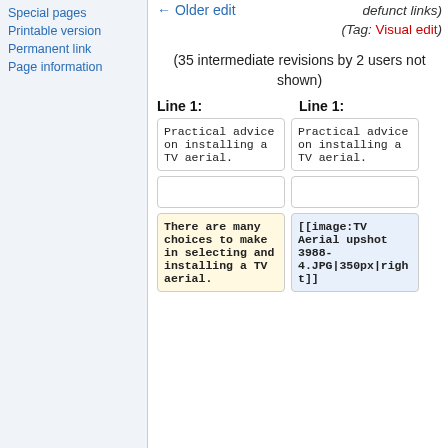Special pages
Printable version
Permanent link
Page information
← Older edit
defunct links) (Tag: Visual edit)
(35 intermediate revisions by 2 users not shown)
Line 1:
Line 1:
Practical advice on installing a TV aerial.
Practical advice on installing a TV aerial.
There are many choices to make in selecting and installing a TV aerial.
[[image:TV Aerial upshot 3988-4.JPG|350px|right]]